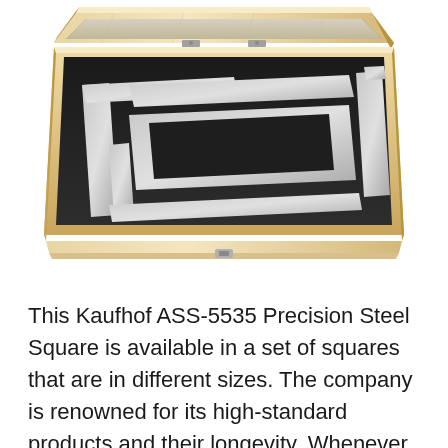[Figure (photo): Photo of Kaufhof ASS-5535 Precision Steel Square set in an open wooden box with black foam insert holding multiple precision steel squares of different sizes arranged inside.]
This Kaufhof ASS-5535 Precision Steel Square is available in a set of squares that are in different sizes. The company is renowned for its high-standard products and their longevity. Whenever you need